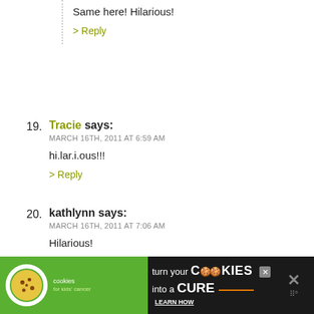Same here! Hilarious!
> Reply
19. Tracie says: MARCH 16TH, 2011 AT 6:59 AM
hi.lar.i.ous!!!
> Reply
20. kathlynn says: MARCH 16TH, 2011 AT 7:06 AM
Hilarious!
> Reply
21. jennifer says: MARCH 16TH, 2011 AT 7:13 AM
bahahahaha!
[Figure (infographic): Advertisement banner for 'Cookies for Kids Cancer' charity. Green and black banner reading 'turn your COOKIES into a CURE LEARN HOW']